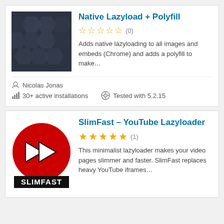[Figure (screenshot): Plugin card 1: Native Lazyload + Polyfill with dark hexagon thumbnail, 0 star rating, description, author Nicolas Jonas, 30+ active installations, Tested with 5.2.15]
Native Lazyload + Polyfill
Adds native lazyloading to all images and embeds (Chrome) and adds a polyfill to make…
Nicolas Jonas
30+ active installations
Tested with 5.2.15
[Figure (logo): SlimFast YouTube Lazyloader logo: red circle with double forward arrow and SLIMFAST text]
SlimFast – YouTube Lazyloader
This minimalist lazyloader makes your video pages slimmer and faster. SlimFast replaces heavy YouTube iframes…